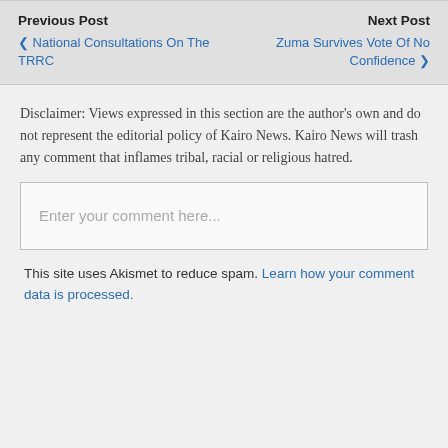Previous Post
❮ National Consultations On The TRRC
Next Post
Zuma Survives Vote Of No Confidence ❯
Disclaimer: Views expressed in this section are the author's own and do not represent the editorial policy of Kairo News. Kairo News will trash any comment that inflames tribal, racial or religious hatred.
Enter your comment here...
This site uses Akismet to reduce spam. Learn how your comment data is processed.